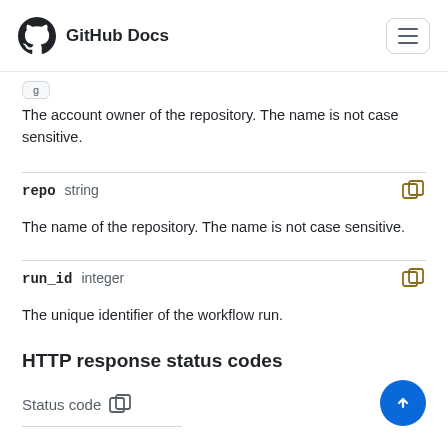GitHub Docs
The account owner of the repository. The name is not case sensitive.
repo  string
The name of the repository. The name is not case sensitive.
run_id  integer
The unique identifier of the workflow run.
HTTP response status codes
Status code